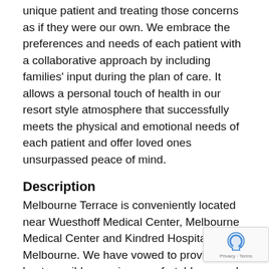unique patient and treating those concerns as if they were our own. We embrace the preferences and needs of each patient with a collaborative approach by including families' input during the plan of care. It allows a personal touch of health in our resort style atmosphere that successfully meets the physical and emotional needs of each patient and offer loved ones unsurpassed peace of mind.
Description
Melbourne Terrace is conveniently located near Wuesthoff Medical Center, Melbourne Medical Center and Kindred Hospital of Melbourne. We have vowed to providing the best possible care in a comfortable, upscale environment. In pursuit of this goal, we are undergoing a renovation and expansion. This will create